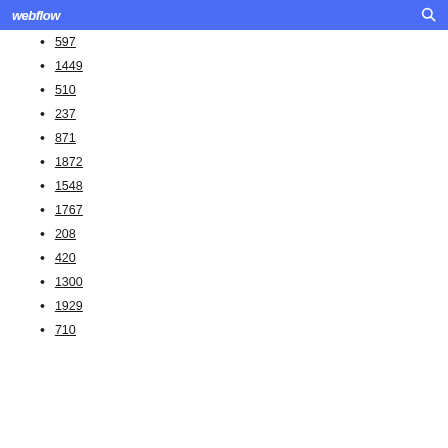webflow [search icon]
597
1449
510
237
871
1872
1548
1767
208
420
1300
1929
710